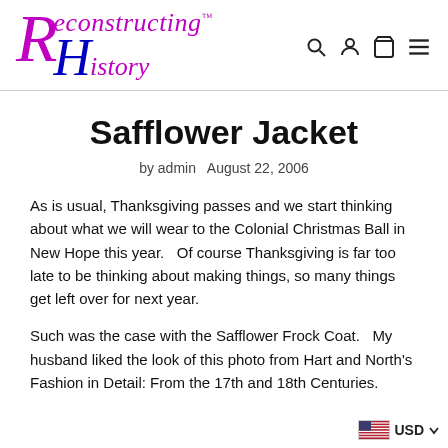Reconstructing History™
Safflower Jacket
by admin   August 22, 2006
As is usual, Thanksgiving passes and we start thinking about what we will wear to the Colonial Christmas Ball in New Hope this year.   Of course Thanksgiving is far too late to be thinking about making things, so many things get left over for next year.
Such was the case with the Safflower Frock Coat.   My husband liked the look of this photo from Hart and North's Fashion in Detail: From the 17th and 18th Centuries.